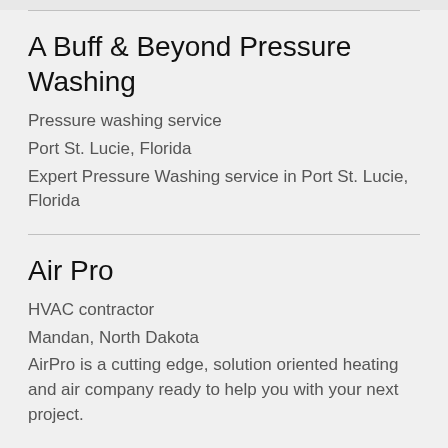A Buff & Beyond Pressure Washing
Pressure washing service
Port St. Lucie, Florida
Expert Pressure Washing service in Port St. Lucie, Florida
Air Pro
HVAC contractor
Mandan, North Dakota
AirPro is a cutting edge, solution oriented heating and air company ready to help you with your next project.